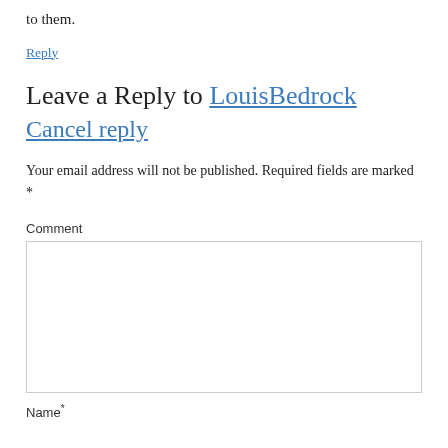to them.
Reply
Leave a Reply to LouisBedrock Cancel reply
Your email address will not be published. Required fields are marked *
Comment
Name*